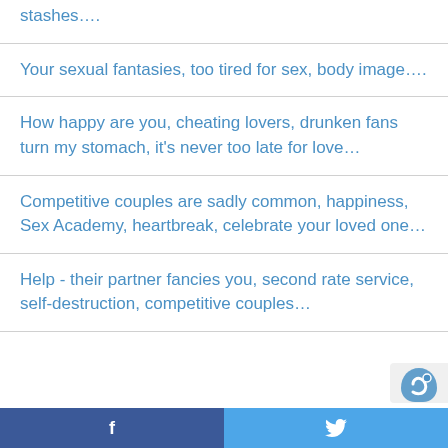stashes….
Your sexual fantasies, too tired for sex, body image….
How happy are you, cheating lovers, drunken fans turn my stomach, it's never too late for love…
Competitive couples are sadly common, happiness, Sex Academy, heartbreak, celebrate your loved one…
Help - their partner fancies you, second rate service, self-destruction, competitive couples…
f  🐦